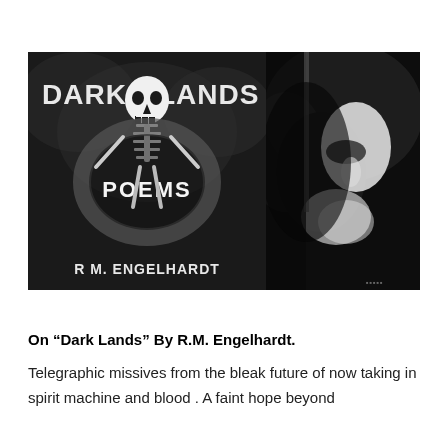[Figure (photo): Two side-by-side black and white images: left is the book cover of 'Dark Lands Poems' by R M. Engelhardt featuring a skeleton figure; right is a high-contrast black and white portrait photo of a bearded man (the author).]
On “Dark Lands” By R.M. Engelhardt.
Telegraphic missives from the bleak future of now taking in spirit machine and blood . A faint hope beyond